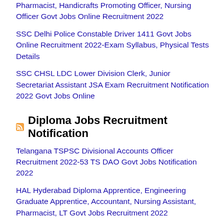Pharmacist, Handicrafts Promoting Officer, Nursing Officer Govt Jobs Online Recruitment 2022
SSC Delhi Police Constable Driver 1411 Govt Jobs Online Recruitment 2022-Exam Syllabus, Physical Tests Details
SSC CHSL LDC Lower Division Clerk, Junior Secretariat Assistant JSA Exam Recruitment Notification 2022 Govt Jobs Online
Diploma Jobs Recruitment Notification
Telangana TSPSC Divisional Accounts Officer Recruitment 2022-53 TS DAO Govt Jobs Notification 2022
HAL Hyderabad Diploma Apprentice, Engineering Graduate Apprentice, Accountant, Nursing Assistant, Pharmacist, LT Govt Jobs Recruitment 2022
DRDO CEPTAM Senior Technical Assistant DRDO STA Recruitment Exam Notification 2022-1075 Govt Jobs